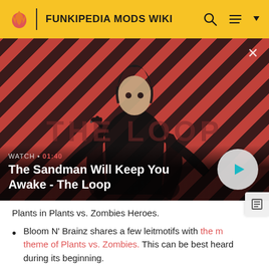FUNKIPEDIA MODS WIKI
[Figure (screenshot): Video thumbnail showing a dark-robed figure with a raven on shoulder against a red and dark diagonal striped background. A play button is shown. Text overlay reads 'WATCH • 01:40' and title 'The Sandman Will Keep You Awake - The Loop'. THE LOOP watermark visible.]
Plants in Plants vs. Zombies Heroes.
Bloom N' Brainz shares a few leitmotifs with the main theme of Plants vs. Zombies. This can be best heard during its beginning.
Boyfriend's death animation is similar to the main